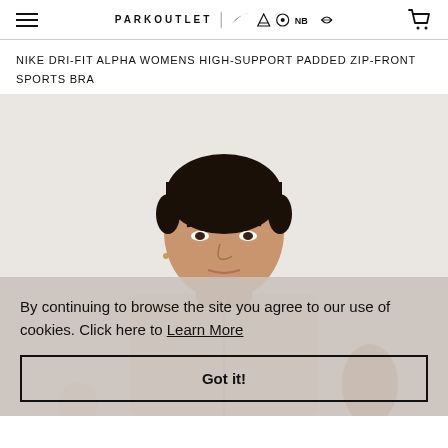PARKOUTLET | (brand icons: Nike, Adidas, Under Armour, New Balance, Converse) | Cart
NIKE DRI-FIT ALPHA WOMENS HIGH-SUPPORT PADDED ZIP-FRONT SPORTS BRA
[Figure (photo): A woman wearing a light pink/beige Nike sports bra, photographed from the upper body. She has dark hair pulled back. The background is a light warm grey.]
By continuing to browse the site you agree to our use of cookies. Click here to Learn More
Got it!